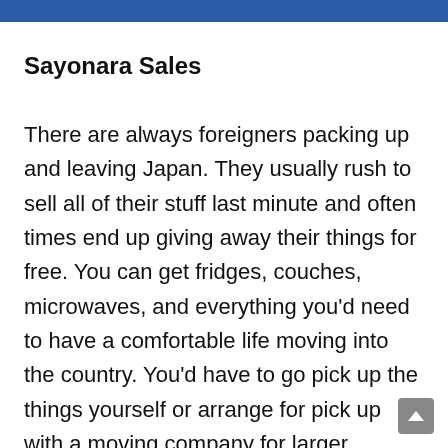Sayonara Sales
There are always foreigners packing up and leaving Japan. They usually rush to sell all of their stuff last minute and often times end up giving away their things for free. You can get fridges, couches, microwaves, and everything you'd need to have a comfortable life moving into the country. You'd have to go pick up the things yourself or arrange for pick up with a moving company for larger objects, which